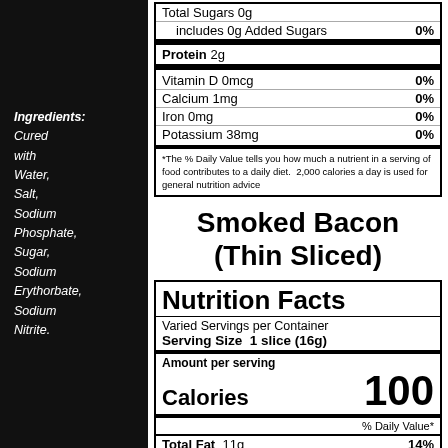Ingredients: Cured with Water, Salt, Sodium Phosphate, Sugar, Sodium Erythorbate, Sodium Nitrite.
| Nutrient | Amount | % DV |
| --- | --- | --- |
| Total Sugars | 0g |  |
| includes 0g Added Sugars |  | 0% |
| Protein | 2g |  |
| Vitamin D | 0mcg | 0% |
| Calcium | 1mg | 0% |
| Iron | 0mg | 0% |
| Potassium | 38mg | 0% |
*The % Daily Value tells you how much a nutrient in a serving of food contributes to a daily diet. 2,000 calories a day is used for general nutrition advice
Smoked Bacon (Thin Sliced)
| Nutrition Facts |
| --- |
| Varied Servings per Container |
| Serving Size 1 slice (16g) |
| Calories | 100 |
| % Daily Value* |
| Total Fat 11g | 14% |
| Saturated Fat 4g | 20% |
| Trans Fat 0g |  |
| Cholesterol 15mg | 5% |
| Sodium 150mg | 7% |